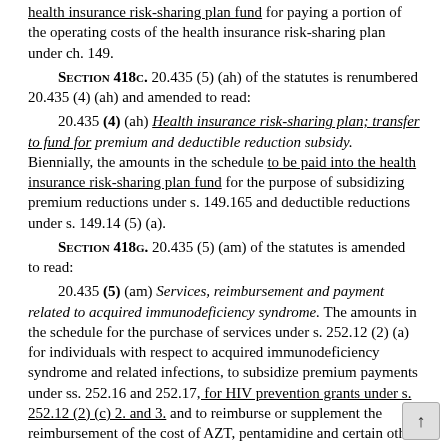health insurance risk-sharing plan fund for paying a portion of the operating costs of the health insurance risk-sharing plan under ch. 149.
Section 418c. 20.435 (5) (ah) of the statutes is renumbered 20.435 (4) (ah) and amended to read:
20.435 (4) (ah) Health insurance risk-sharing plan; transfer to fund for premium and deductible reduction subsidy. Biennially, the amounts in the schedule to be paid into the health insurance risk-sharing plan fund for the purpose of subsidizing premium reductions under s. 149.165 and deductible reductions under s. 149.14 (5) (a).
Section 418g. 20.435 (5) (am) of the statutes is amended to read:
20.435 (5) (am) Services, reimbursement and payment related to acquired immunodeficiency syndrome. The amounts in the schedule for the purchase of services under s. 252.12 (2) (a) for individuals with respect to acquired immunodeficiency syndrome and related infections, to subsidize premium payments under ss. 252.16 and 252.17, for HIV prevention grants under s. 252.12 (2) (c) 2. and 3. and to reimburse or supplement the reimbursement of the cost of AZT, pentamidine and certain other drugs under s. 49.686.
Section 419. 20.435 (5) (b) of the statutes is renumbered 20.435 (4) (b) and amended to read:
20.435 (4) (b) Medical assistance program benefits. Biennially, the amounts in the schedule to provide the state sh...